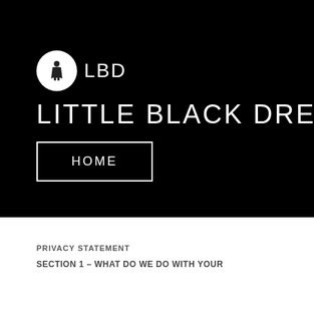[Figure (logo): LBD Little Black Dress logo: circular white logo badge with silhouette figure in black dress, accompanied by text 'LBD' in white]
LITTLE BLACK DRESS
HOME
PRIVACY STATEMENT
SECTION 1 – WHAT DO WE DO WITH YOUR